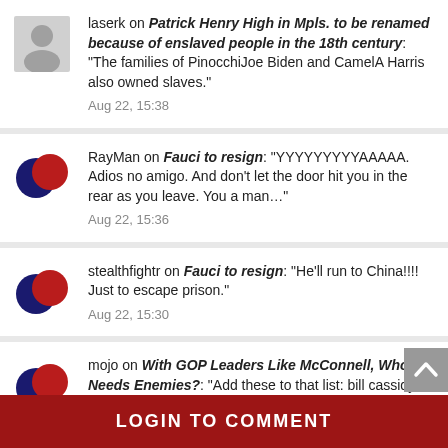laserk on Patrick Henry High in Mpls. to be renamed because of enslaved people in the 18th century: “The families of PinocchiJoe Biden and CamelA Harris also owned slaves.” Aug 22, 15:38
RayMan on Fauci to resign: “YYYYYYAAAAA. Adios no amigo. And don’t let the door hit you in the rear as you leave. You a man…” Aug 22, 15:36
stealthfightr on Fauci to resign: “He’ll run to China!!!! Just to escape prison.” Aug 22, 15:30
mojo on With GOP Leaders Like McConnell, Who Needs Enemies?: “Add these to that list: bill cassidy of Louisiana lisa murkowsky of Alaska” Aug 22, 15:19
LOGIN TO COMMENT